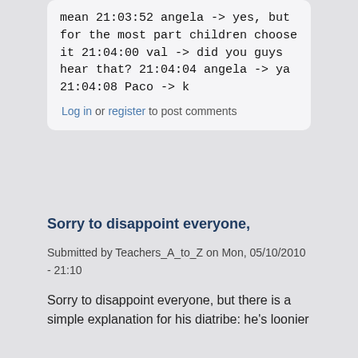mean 21:03:52 angela -> yes, but for the most part children choose it 21:04:00 val -> did you guys hear that? 21:04:04 angela -> ya 21:04:08 Paco -> k
Log in or register to post comments
Sorry to disappoint everyone,
Submitted by Teachers_A_to_Z on Mon, 05/10/2010 - 21:10
Sorry to disappoint everyone, but there is a simple explanation for his diatribe: he's loonier